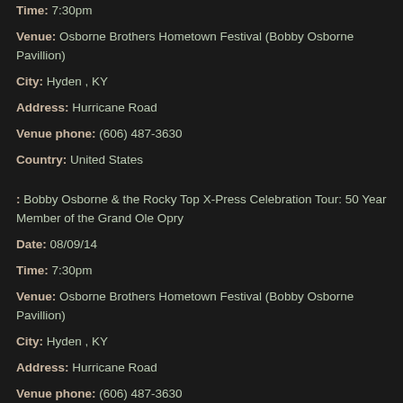Time: 7:30pm
Venue: Osborne Brothers Hometown Festival (Bobby Osborne Pavillion)
City: Hyden , KY
Address: Hurricane Road
Venue phone: (606) 487-3630
Country: United States
: Bobby Osborne & the Rocky Top X-Press Celebration Tour: 50 Year Member of the Grand Ole Opry
Date: 08/09/14
Time: 7:30pm
Venue: Osborne Brothers Hometown Festival (Bobby Osborne Pavillion)
City: Hyden , KY
Address: Hurricane Road
Venue phone: (606) 487-3630
Country: United States
Posted in Celebration Tour, News, Tour dates | Tagged Bobby Osborne, Carolina Road, Dailey & Vincent, Hyden, Illrd Tyme Out, Kentucky, Larry Sparks, Lonesome River